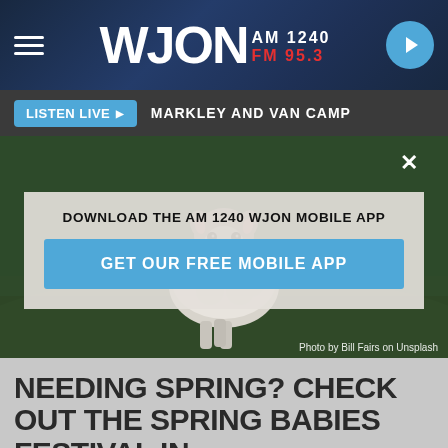[Figure (screenshot): WJON radio station website screenshot showing navigation bar with WJON AM 1240 FM 95.3 logo, hamburger menu, and play button]
LISTEN LIVE ▶  MARKLEY AND VAN CAMP
[Figure (photo): A young white lamb standing in a green field, photo by Bill Fairs on Unsplash. Overlaid with a modal dialog saying DOWNLOAD THE AM 1240 WJON MOBILE APP with a GET OUR FREE MOBILE APP button.]
Photo by Bill Fairs on Unsplash
NEEDING SPRING? CHECK OUT THE SPRING BABIES FESTIVAL IN